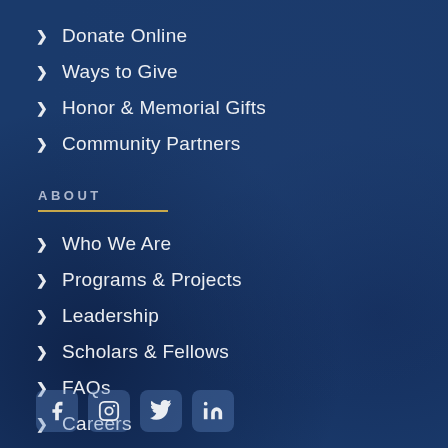Donate Online
Ways to Give
Honor & Memorial Gifts
Community Partners
ABOUT
Who We Are
Programs & Projects
Leadership
Scholars & Fellows
FAQs
Careers
[Figure (illustration): Social media icons row: Facebook, Instagram, Twitter, LinkedIn]